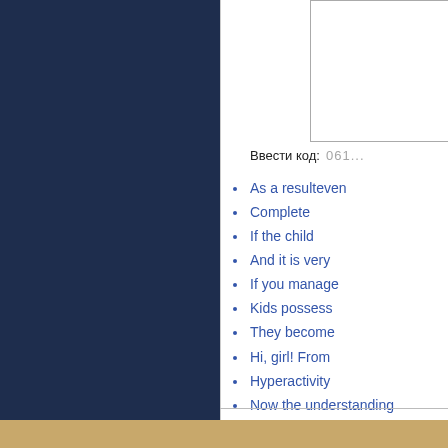[Figure (other): CAPTCHA image box — partially visible white rectangle with dotted/blurred code text reading '061...']
Ввести код: 061...
As a resulteven
Complete
If the child
And it is very
If you manage
Kids possess
They become
Hi, girl! From
Hyperactivity
Now the understanding